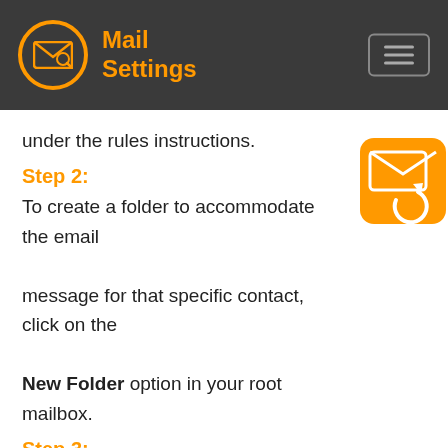Mail Settings
under the rules instructions.
Step 2:
To create a folder to accommodate the email message for that specific contact, click on the New Folder option in your root mailbox.
Step 3:
Rename the folder with that specific contact name.
Step 4:
In the mail list, click on the email you want to